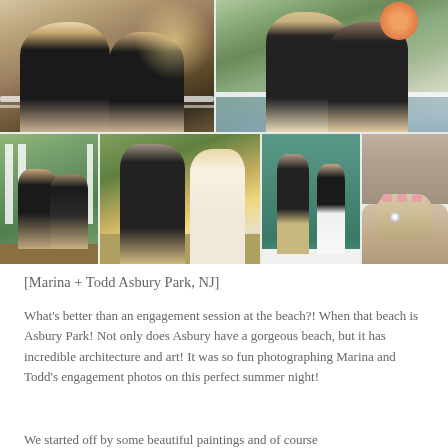[Figure (photo): Photo collage of couple Marina and Todd engagement session. Top row: two photos of a couple (woman with long blonde hair, man in dark shirt) in outdoor settings. Bottom row: four photos showing couple sitting on dock, couple laughing together by water, couple standing against teal wall, and close-up of engagement ring on hand.]
[Marina + Todd Asbury Park, NJ]
What's better than an engagement session at the beach?! When that beach is Asbury Park! Not only does Asbury have a gorgeous beach, but it has incredible architecture and art! It was so fun photographing Marina and Todd's engagement photos on this perfect summer night!
We started off by some beautiful paintings and of course